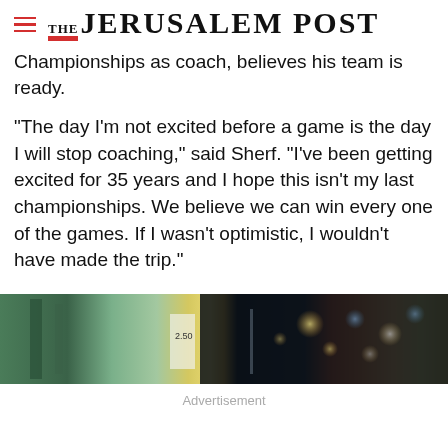THE JERUSALEM POST
Championships as coach, believes his team is ready.
"The day I'm not excited before a game is the day I will stop coaching," said Sherf. "I've been getting excited for 35 years and I hope this isn't my last championships. We believe we can win every one of the games. If I wasn't optimistic, I wouldn't have made the trip."
[Figure (photo): Advertisement image showing a blurred market/store scene with bokeh lights]
Advertisement